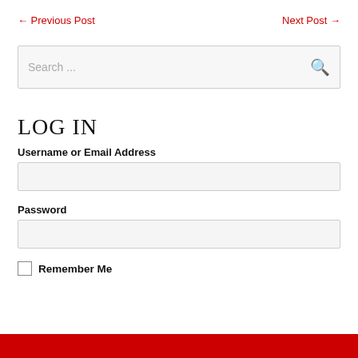← Previous Post
Next Post →
Search ...
LOG IN
Username or Email Address
Password
Remember Me